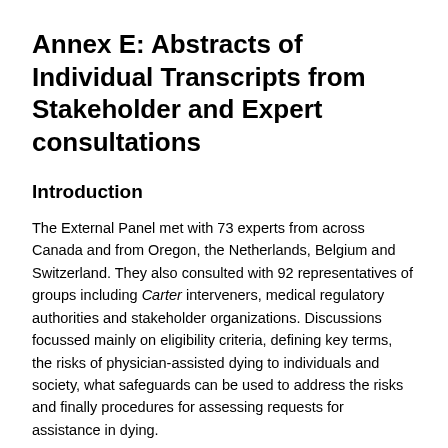Annex E: Abstracts of Individual Transcripts from Stakeholder and Expert consultations
Introduction
The External Panel met with 73 experts from across Canada and from Oregon, the Netherlands, Belgium and Switzerland. They also consulted with 92 representatives of groups including Carter interveners, medical regulatory authorities and stakeholder organizations. Discussions focussed mainly on eligibility criteria, defining key terms, the risks of physician-assisted dying to individuals and society, what safeguards can be used to address the risks and finally procedures for assessing requests for assistance in dying.
Issues of primary concern for stakeholders and experts